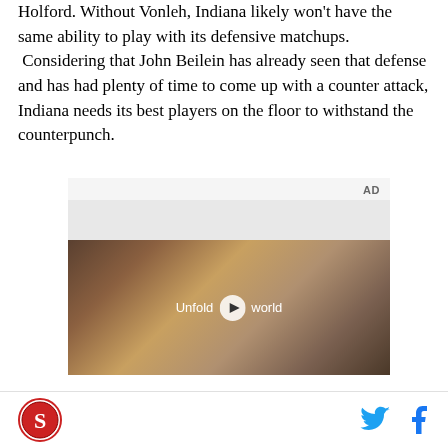Holford. Without Vonleh, Indiana likely won't have the same ability to play with its defensive matchups. Considering that John Beilein has already seen that defense and has had plenty of time to come up with a counter attack, Indiana needs its best players on the floor to withstand the counterpunch.
[Figure (other): Advertisement area with video player showing 'Unfold your world' Samsung advertisement with a woman in a car holding a foldable phone]
SB Nation logo, Twitter icon, Facebook icon